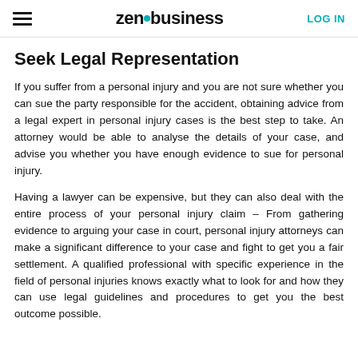zenbusiness | LOG IN
Seek Legal Representation
If you suffer from a personal injury and you are not sure whether you can sue the party responsible for the accident, obtaining advice from a legal expert in personal injury cases is the best step to take. An attorney would be able to analyse the details of your case, and advise you whether you have enough evidence to sue for personal injury.
Having a lawyer can be expensive, but they can also deal with the entire process of your personal injury claim – From gathering evidence to arguing your case in court, personal injury attorneys can make a significant difference to your case and fight to get you a fair settlement. A qualified professional with specific experience in the field of personal injuries knows exactly what to look for and how they can use legal guidelines and procedures to get you the best outcome possible.